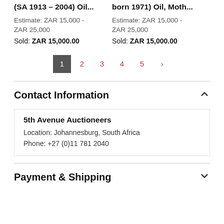(SA 1913 - 2004) Oil... | Estimate: ZAR 15,000 - ZAR 25,000 | Sold: ZAR 15,000.00
born 1971) Oil, Moth... | Estimate: ZAR 15,000 - ZAR 25,000 | Sold: ZAR 15,000.00
Pagination: 1 2 3 4 5 ›
Contact Information
5th Avenue Auctioneers
Location: Johannesburg, South Africa
Phone: +27 (0)11 781 2040
Payment & Shipping